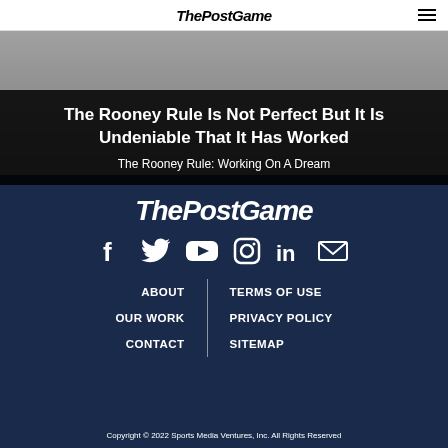ThePostGame
The Rooney Rule Is Not Perfect But It Is Undeniable That It Has Worked
The Rooney Rule: Working On A Dream
[Figure (logo): ThePostGame logo in white italic bold text on dark navy background]
[Figure (infographic): Social media icons: Facebook, Twitter, YouTube, Instagram, LinkedIn, Email — all white on dark navy background]
ABOUT
TERMS OF USE
OUR WORK
PRIVACY POLICY
CONTACT
SITEMAP
Copyright © 2022 Sports Media Ventures, Inc. All Rights Reserved